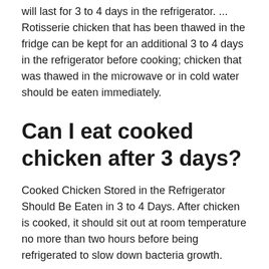will last for 3 to 4 days in the refrigerator. ... Rotisserie chicken that has been thawed in the fridge can be kept for an additional 3 to 4 days in the refrigerator before cooking; chicken that was thawed in the microwave or in cold water should be eaten immediately.
Can I eat cooked chicken after 3 days?
Cooked Chicken Stored in the Refrigerator Should Be Eaten in 3 to 4 Days. After chicken is cooked, it should sit out at room temperature no more than two hours before being refrigerated to slow down bacteria growth.